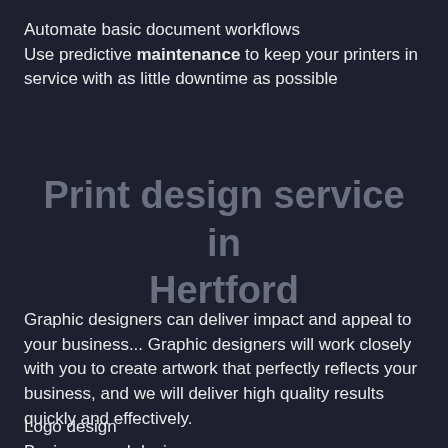Automate basic document workflows
Use predictive maintenance to keep your printers in service with as little downtime as possible
Print design service in Hertford
Graphic designers can deliver impact and appeal to your business... Graphic designers will work closely with you to create artwork that perfectly reflects your business, and we will deliver high quality results quickly and effectively.
Logo design
Business card design
Stationary design